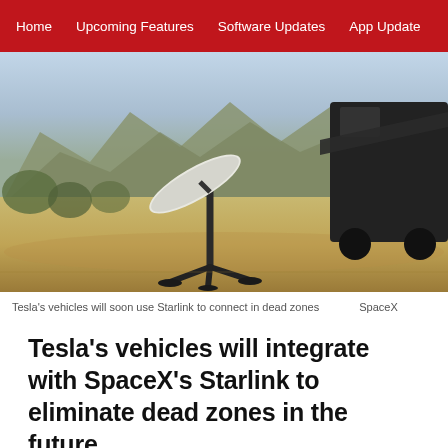Home   Upcoming Features   Software Updates   App Update
[Figure (photo): Starlink satellite dish on a tripod stand set on a dirt road with mountains in the background and a large dark vehicle (RV or truck) visible on the right side. Sunset or golden hour lighting.]
Tesla's vehicles will soon use Starlink to connect in dead zones   SpaceX
Tesla's vehicles will integrate with SpaceX's Starlink to eliminate dead zones in the future.